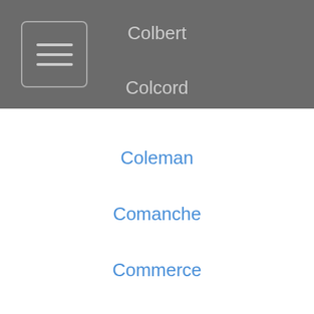Colbert
Colcord
Coleman
Comanche
Commerce
Corn
Council Hill
Countyline
Coweta
Crawford